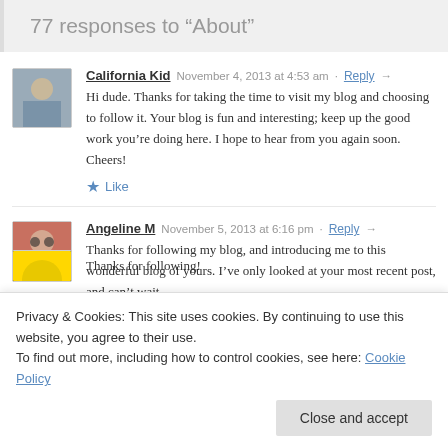77 responses to “About”
California Kid  November 4, 2013 at 4:53 am · Reply →
Hi dude. Thanks for taking the time to visit my blog and choosing to follow it. Your blog is fun and interesting; keep up the good work you’re doing here. I hope to hear from you again soon. Cheers!
★ Like
Angeline M  November 5, 2013 at 6:16 pm · Reply →
Thanks for following my blog, and introducing me to this wonderful blog of yours. I’ve only looked at your most recent post, and can’t wait
Thanks for following!
Privacy & Cookies: This site uses cookies. By continuing to use this website, you agree to their use.
To find out more, including how to control cookies, see here: Cookie Policy
Close and accept